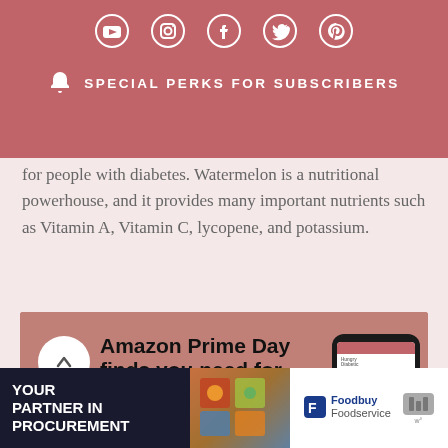SPECIAL PERKS FOR SUBSCRIBERS
for people with diabetes. Watermelon is a nutritional powerhouse, and it provides many important nutrients such as Vitamin A, Vitamin C, lycopene, and potassium.
[Figure (screenshot): Amazon Prime Day finds you need for your kitchen - promotional banner showing laptop and phone mockups with blog content]
[Figure (infographic): YOUR PARTNER IN PROCUREMENT - Foodbuy Foodservice advertisement banner]